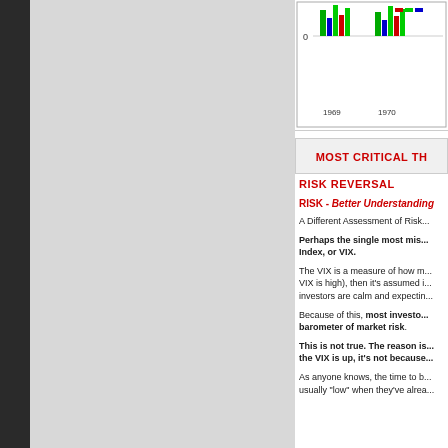[Figure (bar-chart): Partial view of a bar chart with colored bars (green, blue, red) around year marks 1969 and 1970, y-axis showing 0]
MOST CRITICAL TH...
RISK REVERSAL
RISK - Better Understanding...
A Different Assessment of Risk...
Perhaps the single most mis... Index, or VIX.
The VIX is a measure of how m... VIX is high), then it's assumed i... investors are calm and expectin...
Because of this, most investo... barometer of market risk.
This is not true. The reason is... the VIX is up, it's not because...
As anyone knows, the time to b... usually "low" when they've alrea...